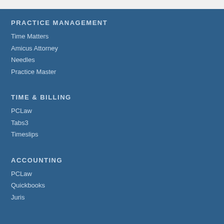PRACTICE MANAGEMENT
Time Matters
Amicus Attorney
Needles
Practice Master
TIME & BILLING
PCLaw
Tabs3
Timeslips
ACCOUNTING
PCLaw
Quickbooks
Juris